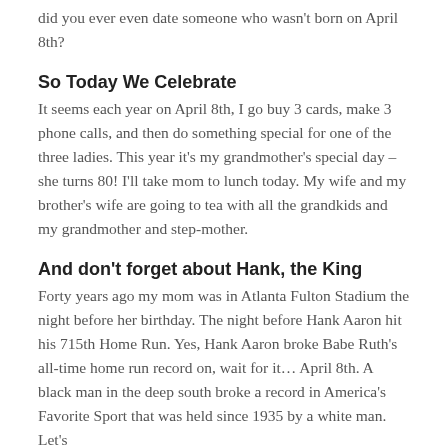did you ever even date someone who wasn't born on April 8th?
So Today We Celebrate
It seems each year on April 8th, I go buy 3 cards, make 3 phone calls, and then do something special for one of the three ladies. This year it's my grandmother's special day – she turns 80! I'll take mom to lunch today. My wife and my brother's wife are going to tea with all the grandkids and my grandmother and step-mother.
And don't forget about Hank, the King
Forty years ago my mom was in Atlanta Fulton Stadium the night before her birthday. The night before Hank Aaron hit his 715th Home Run. Yes, Hank Aaron broke Babe Ruth's all-time home run record on, wait for it… April 8th. A black man in the deep south broke a record in America's Favorite Sport that was held since 1935 by a white man. Let's